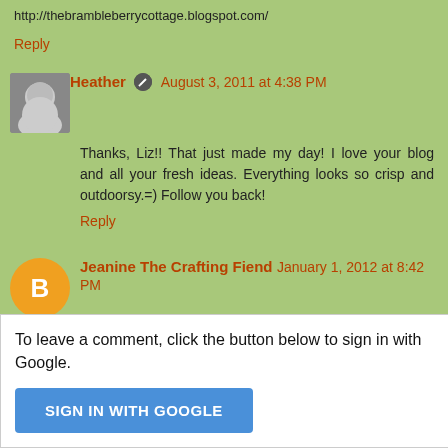http://thebrambleberrycottage.blogspot.com/
Reply
Heather  August 3, 2011 at 4:38 PM
Thanks, Liz!! That just made my day! I love your blog and all your fresh ideas. Everything looks so crisp and outdoorsy.=) Follow you back!
Reply
Jeanine The Crafting Fiend  January 1, 2012 at 8:42 PM
these look good! I wish I wasn't allergic to bananas or dairy!
Reply
To leave a comment, click the button below to sign in with Google.
SIGN IN WITH GOOGLE